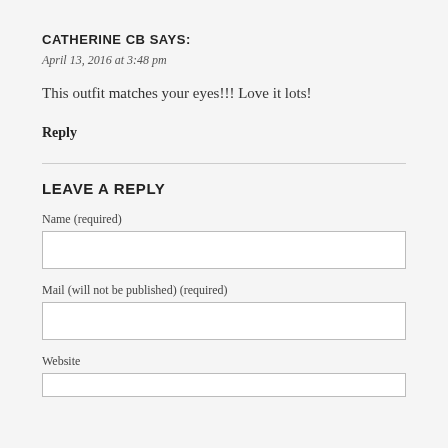CATHERINE CB SAYS:
April 13, 2016 at 3:48 pm
This outfit matches your eyes!!! Love it lots!
Reply
LEAVE A REPLY
Name (required)
Mail (will not be published) (required)
Website